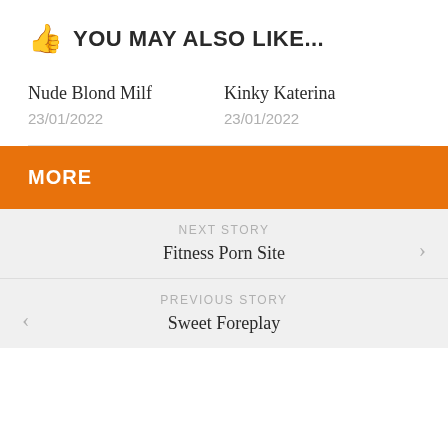👍 YOU MAY ALSO LIKE...
Nude Blond Milf
23/01/2022
Kinky Katerina
23/01/2022
MORE
NEXT STORY
Fitness Porn Site
PREVIOUS STORY
Sweet Foreplay